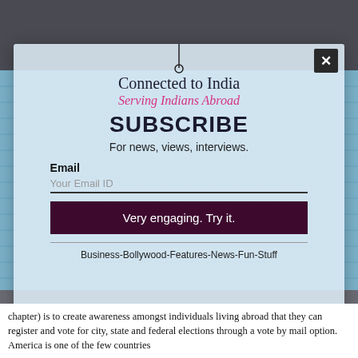[Figure (photo): Background image showing a person and blue glass building architecture, partially visible behind a subscription modal overlay]
Connected to India
Serving Indians Abroad
SUBSCRIBE
For news, views, interviews.
Email
Your Email ID
Very engaging. Try it.
Business-Bollywood-Features-News-Fun-Stuff
chapter) is to create awareness amongst individuals living abroad that they can register and vote for city, state and federal elections through a vote by mail option. America is one of the few countries